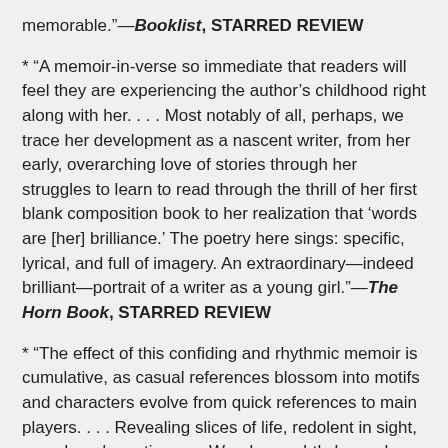memorable."—Booklist, STARRED REVIEW
* "A memoir-in-verse so immediate that readers will feel they are experiencing the author's childhood right along with her. . . . Most notably of all, perhaps, we trace her development as a nascent writer, from her early, overarching love of stories through her struggles to learn to read through the thrill of her first blank composition book to her realization that 'words are [her] brilliance.' The poetry here sings: specific, lyrical, and full of imagery. An extraordinary—indeed brilliant—portrait of a writer as a young girl."—The Horn Book, STARRED REVIEW
* "The effect of this confiding and rhythmic memoir is cumulative, as casual references blossom into motifs and characters evolve from quick references to main players. . . . Revealing slices of life, redolent in sight, sound, and emotion. . . . Woodson subtly layers her focus, with history and geography the background, family the middle distance, and her younger self the foreground. . . . Eager readers and budding writers will particularly see themselves in the young protagonist and recognize her reveling in the luxury of the